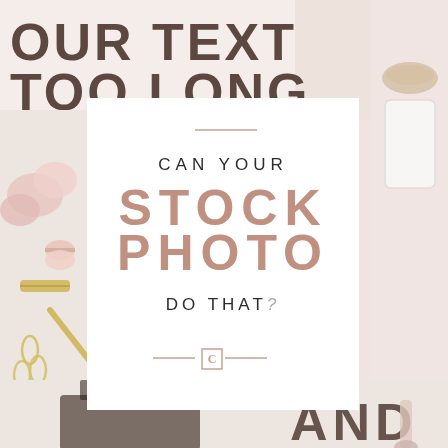[Figure (illustration): Collage background of flat-lay lifestyle stock photos: flowers/macarons on left, gold accessories, laptop, phone on right, 'AND' text visible bottom right. A white card overlay is centered with the text 'CAN YOUR STOCK PHOTO DO THAT?' with decorative lines and a boxed C logo.]
CAN YOUR STOCK PHOTO DO THAT?